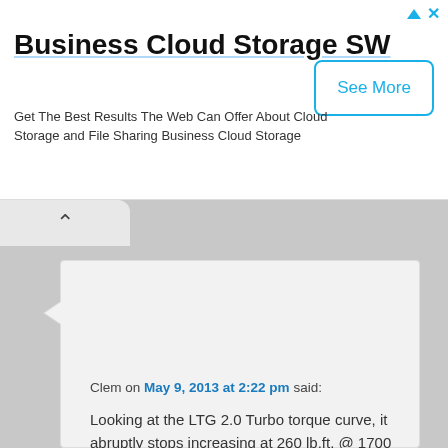[Figure (other): Advertisement banner for Business Cloud Storage SW with See More button]
Business Cloud Storage SW
Get The Best Results The Web Can Offer About Cloud Storage and File Sharing Business Cloud Storage
Clem on May 9, 2013 at 2:22 pm said:
Looking at the LTG 2.0 Turbo torque curve, it abruptly stops increasing at 260 lb.ft. @ 1700 RPM and continues flat through 5500 RPM. This appears to be a factor of reaching the max boost programmed and holding until the curve was on the way down. I believe this engine has much more (maximum) torque available if boost was allowed to